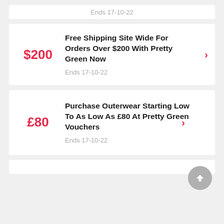Ends 17-10-22
$200
Free Shipping Site Wide For Orders Over $200 With Pretty Green Now
Ends 17-10-22
£80
Purchase Outerwear Starting Low To As Low As £80 At Pretty Green Vouchers
Ends 17-10-22